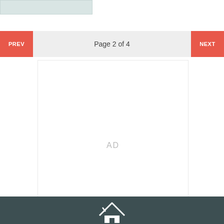[Figure (other): Light teal/grey horizontal image bar at top left]
PREV   Page 2 of 4   NEXT
[Figure (other): AD placeholder box]
Footer with house logo icon on dark teal background